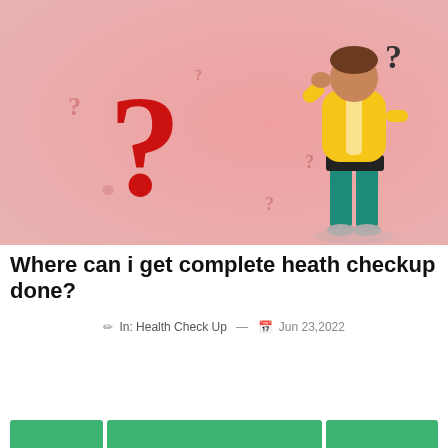[Figure (illustration): Illustration on a pink/salmon background showing a large red question mark on the left, several small grey question marks scattered around, and a cartoon person wearing a yellow hoodie and teal pants standing on the right with hand raised to head in a thinking/confused pose, with a dark question mark above their head.]
Where can i get complete heath checkup done?
✏ In: Health Check Up — 📅 Jun 23,2022